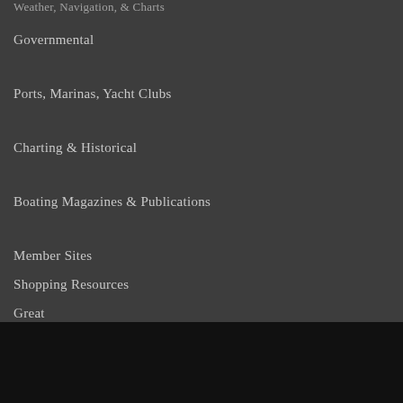Weather, Navigation, & Charts
Governmental
Ports, Marinas, Yacht Clubs
Charting & Historical
Boating Magazines & Publications
Member Sites
Shopping Resources
Great Lakes Charting